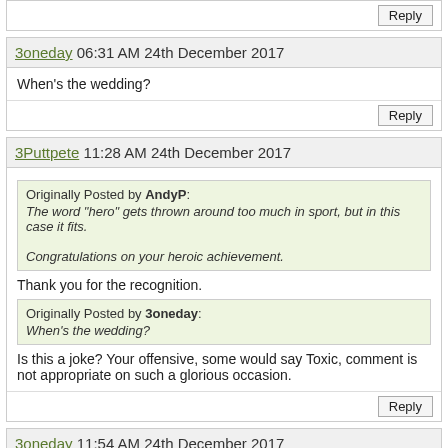Reply
3oneday 06:31 AM 24th December 2017
When's the wedding?
Reply
3Puttpete 11:28 AM 24th December 2017
Originally Posted by AndyP: The word "hero" gets thrown around too much in sport, but in this case it fits. Congratulations on your heroic achievement.
Thank you for the recognition.
Originally Posted by 3oneday: When's the wedding?
Is this a joke? Your offensive, some would say Toxic, comment is not appropriate on such a glorious occasion.
Reply
3oneday 11:54 AM 24th December 2017
You're